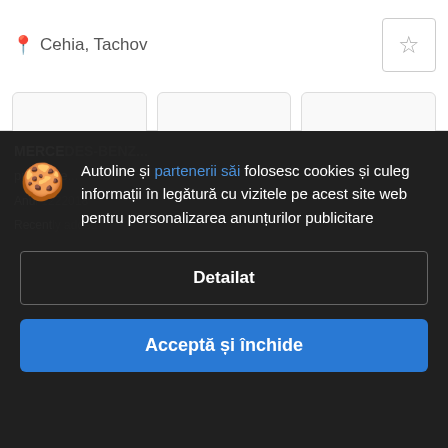Cehia, Tachov
[Figure (screenshot): Three empty image placeholder cards in a row]
Autoline și partenerii săi folosesc cookies și culeg informații în legătură cu vizitele pe acest site web pentru personalizarea anunțurilor publicitare
Detailat
Acceptă și închide